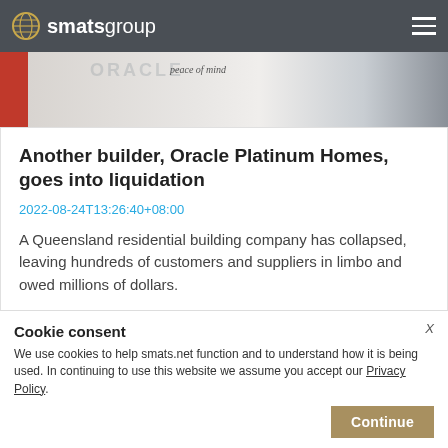smatsgroup
[Figure (photo): Top hero image showing Oracle Platinum Homes branding with 'peace of mind' text, red element on left, dark overlay on right]
Another builder, Oracle Platinum Homes, goes into liquidation
2022-08-24T13:26:40+08:00
A Queensland residential building company has collapsed, leaving hundreds of customers and suppliers in limbo and owed millions of dollars.
[Figure (photo): Bottom hero image showing kitchen interior with people]
Cookie consent
We use cookies to help smats.net function and to understand how it is being used. In continuing to use this website we assume you accept our Privacy Policy.